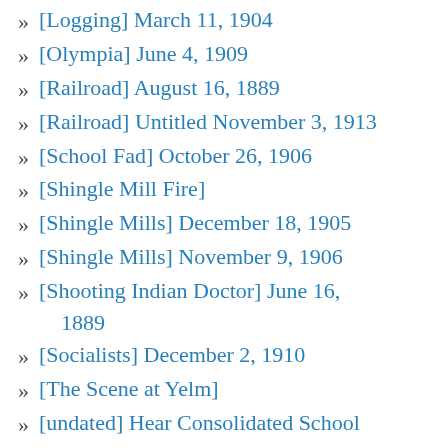[Logging] March 11, 1904
[Olympia] June 4, 1909
[Railroad] August 16, 1889
[Railroad] Untitled November 3, 1913
[School Fad] October 26, 1906
[Shingle Mill Fire]
[Shingle Mills] December 18, 1905
[Shingle Mills] November 9, 1906
[Shooting Indian Doctor] June 16, 1889
[Socialists] December 2, 1910
[The Scene at Yelm]
[undated] Hear Consolidated School Appeal
[untitled] December 2, 1910
[Untitled] June 1, 1906
[Untitled] May 2, 1889